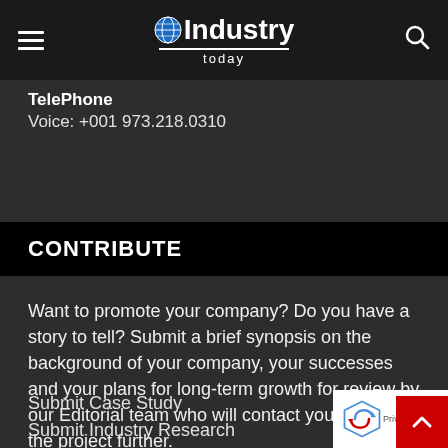Industry Today
TelePhone
Voice: +001 973.218.0310
CONTRIBUTE
Want to promote your company? Do you have a story to tell? Submit a brief synopsis on the background of your company, your successes and your plans for long-term growth for review by our Editorial team who will contact you to discuss the project further.
Submit Case Study
Submit Industry Research
Submit Infographic